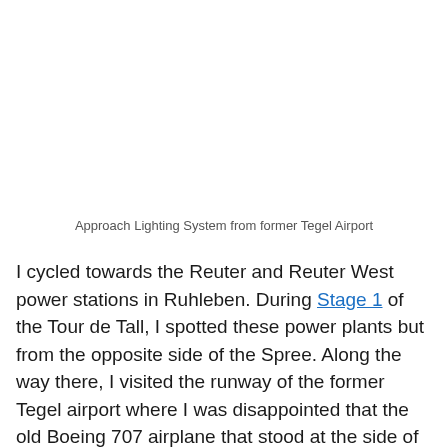Approach Lighting System from former Tegel Airport
I cycled towards the Reuter and Reuter West power stations in Ruhleben. During Stage 1 of the Tour de Tall, I spotted these power plants but from the opposite side of the Spree. Along the way there, I visited the runway of the former Tegel airport where I was disappointed that the old Boeing 707 airplane that stood at the side of the runway has been dismantled.